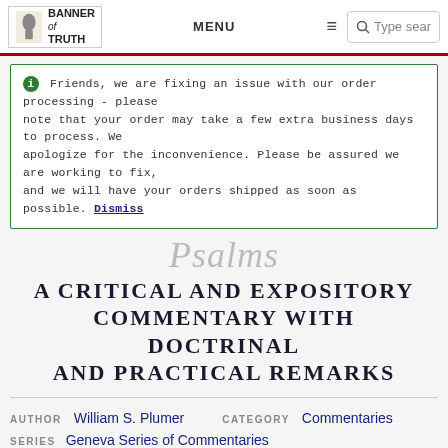Banner of Truth | MENU | Type search
Friends, we are fixing an issue with our order processing - please note that your order may take a few extra business days to process. We apologize for the inconvenience. Please be assured we are working to fix, and we will have your orders shipped as soon as possible. Dismiss
Psalms
A CRITICAL AND EXPOSITORY COMMENTARY WITH DOCTRINAL AND PRACTICAL REMARKS
AUTHOR William S. Plumer   CATEGORY Commentaries
SERIES Geneva Series of Commentaries